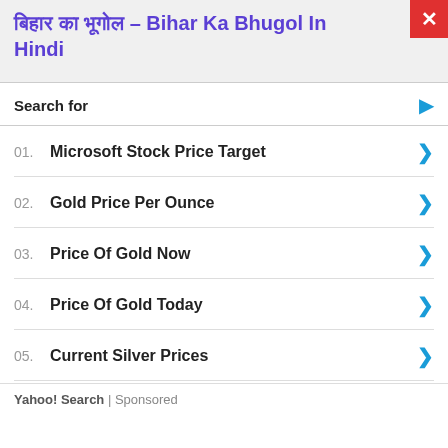बिहार का भूगोल – Bihar Ka Bhugol In Hindi
Search for
01. Microsoft Stock Price Target
02. Gold Price Per Ounce
03. Price Of Gold Now
04. Price Of Gold Today
05. Current Silver Prices
Yahoo! Search | Sponsored